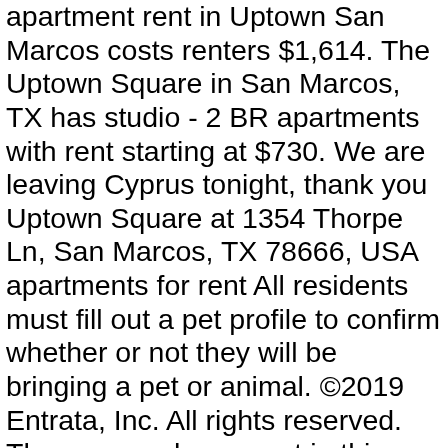apartment rent in Uptown San Marcos costs renters $1,614. The Uptown Square in San Marcos, TX has studio - 2 BR apartments with rent starting at $730. We are leaving Cyprus tonight, thank you Uptown Square at 1354 Thorpe Ln, San Marcos, TX 78666, USA apartments for rent All residents must fill out a pet profile to confirm whether or not they will be bringing a pet or animal. ©2019 Entrata, Inc. All rights reserved. The average home rent in this neighborhood is $1,198. As of January 2021, the average apartment rent in Uptown San Marcos is $824 for a studio, $792 for one bedroom, $1,084 for two bedrooms, and $1,380 for three bedrooms. 2K likes. Uptown Square is a brand new apartment community in San Marcos, Texas. Take a FaceTime Tour with us TODAY! Uptown Square is a student community offering Studio, 1 and 2 Bedroom units with modern features and unsurpassed amenities that far exceed those of typical apartment complexes. SAN MARCOS, Texas (KXAN) — An arrest warrant has been released for a suspect accused of